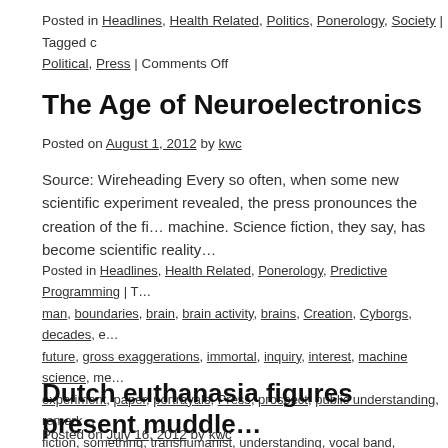Posted in Headlines, Health Related, Politics, Ponerology, Society | Tagged c... Political, Press | Comments Off
The Age of Neuroelectronics
Posted on August 1, 2012 by kwc
Source: Wireheading Every so often, when some new scientific experiment revealed, the press pronounces the creation of the fi... machine. Science fiction, they say, has become scientific reality...
Posted in Headlines, Health Related, Ponerology, Predictive Programming | T... man, boundaries, brain, brain activity, brains, Creation, Cyborgs, decades, e... future, gross exaggerations, immortal, inquiry, interest, machine science, me... experiment, paper, portrayals, Press, prospect, public understanding, remark... fiction, something, transhumanist, understanding, vocal band, Wireheading |
Dutch euthanasia figures present muddle...
Posted on July 16, 2012 by kwc